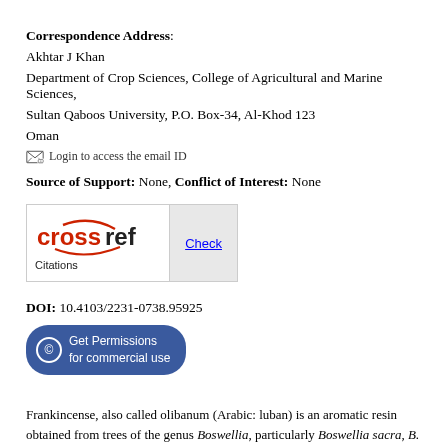Correspondence Address: Akhtar J Khan
Department of Crop Sciences, College of Agricultural and Marine Sciences,
Sultan Qaboos University, P.O. Box-34, Al-Khod 123
Oman
Login to access the email ID
Source of Support: None, Conflict of Interest: None
[Figure (logo): CrossRef Citations Check button]
DOI: 10.4103/2231-0738.95925
[Figure (other): Get Permissions for commercial use button]
Frankincense, also called olibanum (Arabic: luban) is an aromatic resin obtained from trees of the genus Boswellia, particularly Boswellia sacra, B. carteri, B.